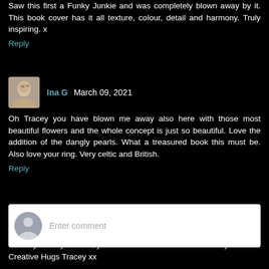Saw this first a Funky Junkie and was completely blown away by it. This book cover has it all texture, colour, detail and harmony. Truly inspiring. x
Reply
Ina G  March 09, 2021
Oh Tracey you have blown me away also here with those most beautiful flowers and the whole concept is just so beautiful. Love the addition of the dangly pearls. What a treasured book this must be. Also love your ring. Very celtic and British.
Reply
Enter comment
Thank you for your visit, your comments are as welcome as you are. Creative Hugs Tracey xx